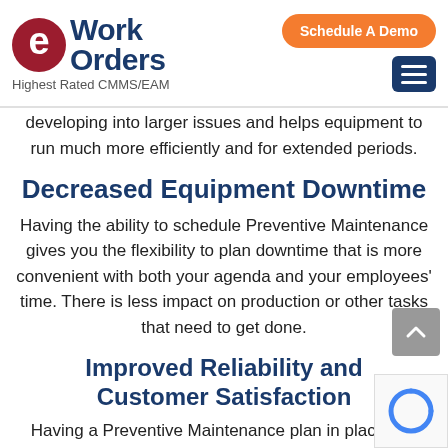[Figure (logo): eWorkOrders logo with red circular e icon and dark blue Work Orders text, tagline: Highest Rated CMMS/EAM]
[Figure (other): Orange Schedule A Demo button and dark blue hamburger menu icon]
developing into larger issues and helps equipment to run much more efficiently and for extended periods.
Decreased Equipment Downtime
Having the ability to schedule Preventive Maintenance gives you the flexibility to plan downtime that is more convenient with both your agenda and your employees' time. There is less impact on production or other tasks that need to get done.
Improved Reliability and Customer Satisfaction
Having a Preventive Maintenance plan in place can